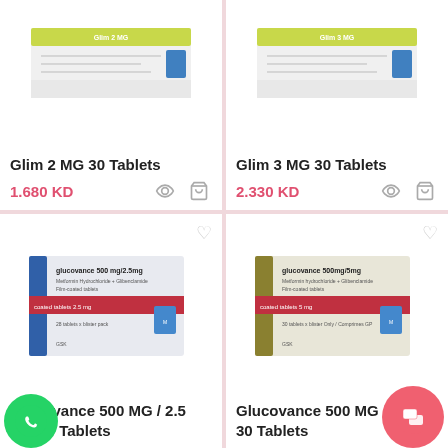[Figure (photo): Glim 2 MG 30 Tablets medicine box - partially visible at top]
Glim 2 MG 30 Tablets
1.680 KD
[Figure (photo): Glim 3 MG 30 Tablets medicine box - partially visible at top]
Glim 3 MG 30 Tablets
2.330 KD
[Figure (photo): Glucovance 500 MG / 2.5 MG 30 Tablets medicine box with blue stripe]
Glucovance 500 MG / 2.5 MG 30 Tablets
[Figure (photo): Glucovance 500 MG / 5 MG 30 Tablets medicine box with red stripe]
Glucovance 500 MG / 5 MG 30 Tablets